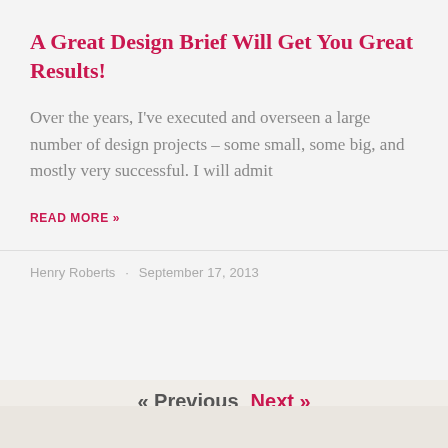A Great Design Brief Will Get You Great Results!
Over the years, I've executed and overseen a large number of design projects – some small, some big, and mostly very successful. I will admit
READ MORE »
Henry Roberts · September 17, 2013
« Previous  Next »